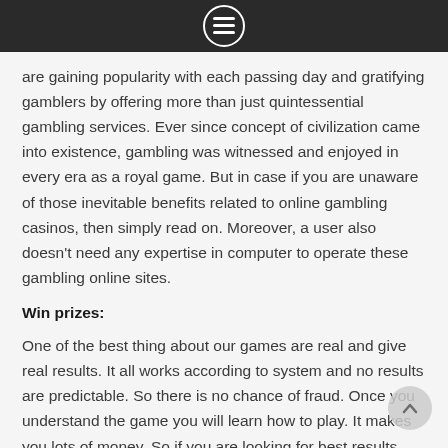[menu icon]
are gaining popularity with each passing day and gratifying gamblers by offering more than just quintessential gambling services. Ever since concept of civilization came into existence, gambling was witnessed and enjoyed in every era as a royal game. But in case if you are unaware of those inevitable benefits related to online gambling casinos, then simply read on. Moreover, a user also doesn't need any expertise in computer to operate these gambling online sites.
Win prizes:
One of the best thing about our games are real and give real results. It all works according to system and no results are predictable. So there is no chance of fraud. Once you understand the game you will learn how to play. It makes you lots of money. So if you are looking for best results then you are at right place. You can ask any question if you think you need to